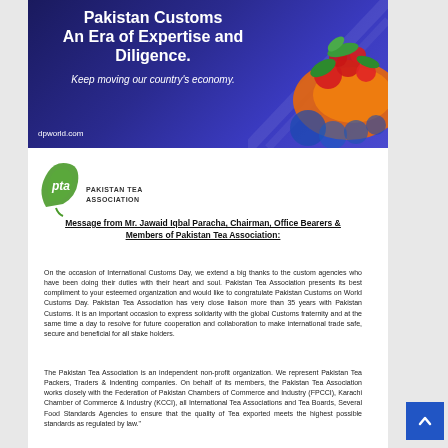[Figure (illustration): Pakistan Customs advertisement banner with text 'Pakistan Customs An Era of Expertise and Diligence. Keep moving our country's economy.' on a dark blue/purple background with colorful decorative swirl graphics on the right side. dpworld.com URL at bottom left.]
[Figure (logo): Pakistan Tea Association (PTA) logo — green leaf with 'pta' text, and 'PAKISTAN TEA ASSOCIATION' printed below]
Message from Mr. Jawaid Iqbal Paracha, Chairman, Office Bearers & Members of Pakistan Tea Association:
On the occasion of International Customs Day, we extend a big thanks to the custom agencies who have been doing their duties with their heart and soul. Pakistan Tea Association presents its best compliment to your esteemed organization and would like to congratulate Pakistan Customs on World Customs Day. Pakistan Tea Association has very close liaison more than 35 years with Pakistan Customs. It is an important occasion to express solidarity with the global Customs fraternity and at the same time a day to resolve for future cooperation and collaboration to make international trade safe, secure and beneficial for all stake holders.
The Pakistan Tea Association is an independent non-profit organization. We represent Pakistan Tea Packers, Traders & Indenting companies. On behalf of its members, the Pakistan Tea Association works closely with the Federation of Pakistan Chambers of Commerce and Industry (FPCCI), Karachi Chamber of Commerce & Industry (KCCI), all International Tea Associations and Tea Boards, Several Food Standards Agencies to ensure that the quality of Tea exported meets the highest possible standards as regulated by law."